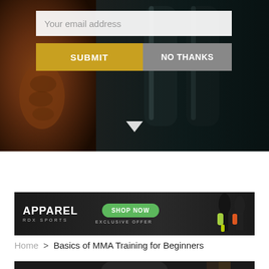[Figure (screenshot): Hero section with dark background showing muscular torso on left and dark punching bag on right, with email subscription form overlay]
Your email address
SUBMIT
NO THANKS
[Figure (photo): Advertisement banner for Apparel RDX Sports with Shop Now button and athletic apparel figures on dark background]
APPAREL
RDX SPORTS
SHOP NOW
EXCLUSIVE OFFER
Home > Basics of MMA Training for Beginners
[Figure (photo): Bottom partial image of MMA fighter with gloves on dark background]